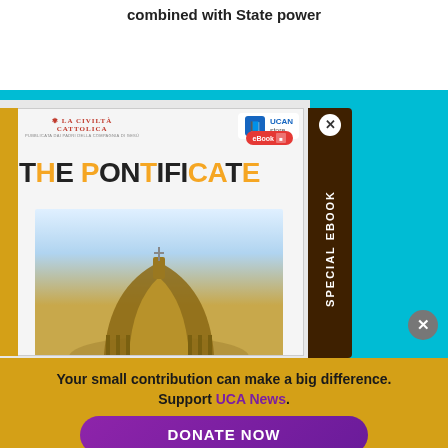combined with State power
[Figure (screenshot): UCAN Store advertisement overlay showing 'The Pontificate' eBook with La Civiltà Cattolica branding and an image of St. Peter's Basilica dome. A dark brown vertical sidebar on the right reads 'SPECIAL EBOOK'. A teal/cyan background surrounds the ad panel.]
Your small contribution can make a big difference. Support UCA News.
DONATE NOW